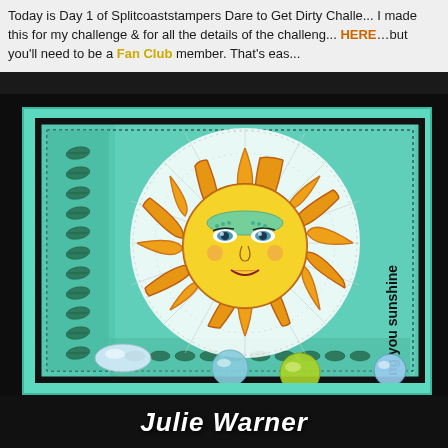Today is Day 1 of Splitcoaststampers Dare to Get Dirty Challenge. I made this for my challenge & for all the details of the challenge go HERE…but you'll need to be a Fan Club member. That's eas
[Figure (photo): A handmade greeting card featuring a decorative sun with a face (yellow and orange rays, teal face with stylized eyes), on a teal/turquoise watercolor background with a leaf border stamp pattern on the left side. Text 'wishing you sunshine' is printed vertically on the right side of the card. Several glass gems/marbles are visible in the foreground.]
Julie Warner